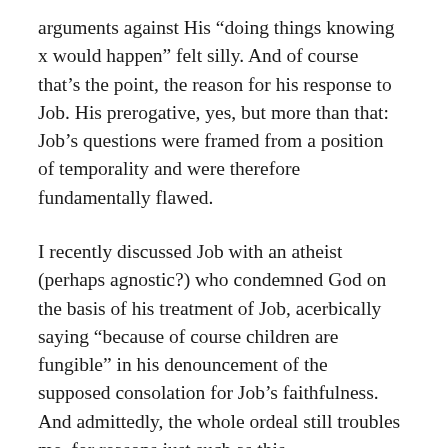arguments against His “doing things knowing x would happen” felt silly. And of course that’s the point, the reason for his response to Job. His prerogative, yes, but more than that: Job’s questions were framed from a position of temporality and were therefore fundamentally flawed.
I recently discussed Job with an atheist (perhaps agnostic?) who condemned God on the basis of his treatment of Job, acerbically saying “because of course children are fungible” in his denouncement of the supposed consolation for Job’s faithfulness. And admittedly, the whole ordeal still troubles me, for reasons just such as this.